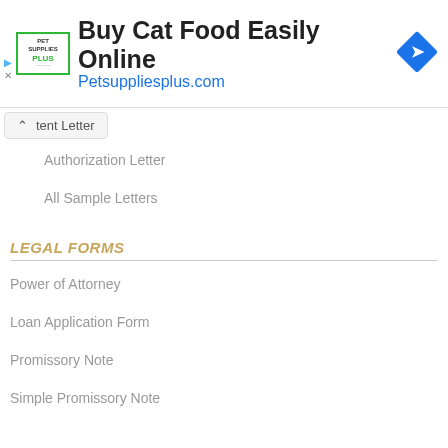[Figure (other): Advertisement banner for Pet Supplies Plus showing logo, headline 'Buy Cat Food Easily Online', URL 'Petsuppliesplus.com', and a blue diamond navigation icon]
tent Letter
Authorization Letter
All Sample Letters
LEGAL FORMS
Power of Attorney
Loan Application Form
Promissory Note
Simple Promissory Note